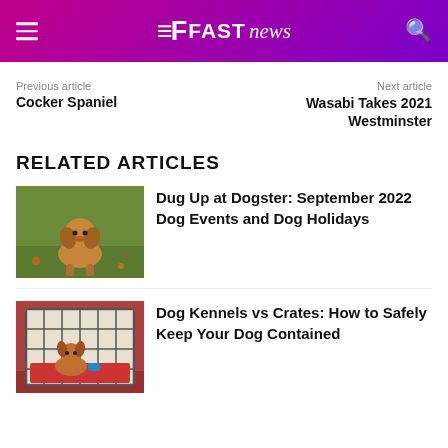FAST news
Previous article
Cocker Spaniel
Next article
Wasabi Takes 2021 Westminster
RELATED ARTICLES
[Figure (photo): A small brown dog sitting on grass outdoors]
Dug Up at Dogster: September 2022 Dog Events and Dog Holidays
[Figure (photo): A dog inside a metal wire crate/kennel with a red mat]
Dog Kennels vs Crates: How to Safely Keep Your Dog Contained